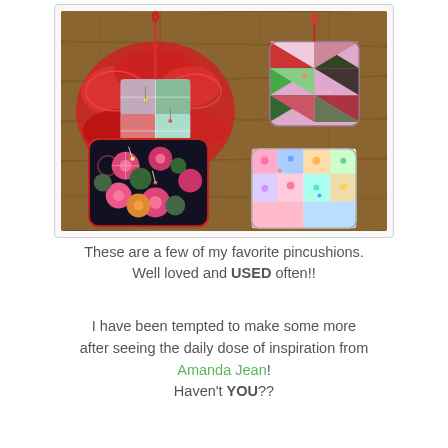[Figure (photo): Photo of four colorful handmade pincushions arranged on a wooden surface. Top left: a ruffled patchwork pincushion with red gingham ruffles and patchwork top. Top right: a small quilted pincushion with colorful triangular patchwork. Bottom left: a square dark pincushion with pink and green circular flower patterns. Bottom right: a small rectangular pincushion with colorful floral patchwork fabrics.]
These are a few of my favorite pincushions. Well loved and USED often!!
I have been tempted to make some more after seeing the daily dose of inspiration from Amanda Jean! Haven't YOU??